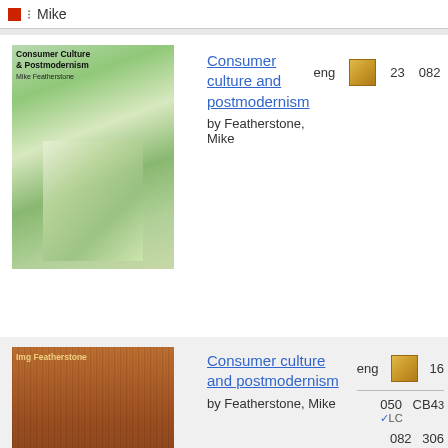Mike
Consumer culture and postmodernism by Featherstone, Mike | eng | 23 | 082 | 306
Consumer culture and postmodernism by Featherstone, Mike | eng | 16 | 050 ✓LC | CB43 | 082 ✓LC | 306
Consumer culture and postmodernism by Featherstone, Mike | eng | 14 | 050 | CB43
Consumer culture and postmodernism | 082 | 306